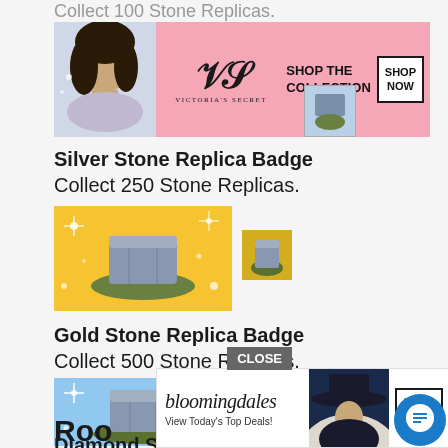Collect 100 Stone Replicas.
[Figure (screenshot): Victoria's Secret advertisement banner with model photo, VS logo, 'SHOP THE COLLECTION' text, and 'SHOP NOW' button on pink background]
Silver Stone Replica Badge
Collect 250 Stone Replicas.
[Figure (illustration): Gold Stone Replica badge image - large stone on golden background with sparkles, and small badge thumbnail]
Gold Stone Replica Badge
Collect 500 Stone Replicas.
[Figure (illustration): Diamond/blue Stone Replica badge image - large stone on blue sparkle background, and small badge thumbnail]
Diamond Stone Replica Badge
Collect 1000 Stone Replicas.
[Figure (screenshot): Bloomingdale's advertisement banner with woman in hat, 'View Today's Top Deals!' text, and 'SHOP NOW >' button. Overlaid with CLOSE button and chat icon.]
Roo